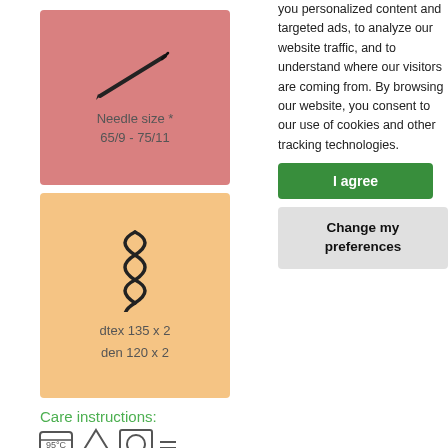[Figure (illustration): Pink/rose colored box with a diagonal needle illustration. Text below reads 'Needle size * 65/9 - 75/11']
[Figure (illustration): Orange/peach colored box with a spring/zigzag thread illustration. Text below reads 'dtex 135 x 2 / den 120 x 2']
Care instructions:
[Figure (illustration): Row of laundry care symbols: wash tub (95°C), triangle (bleach), circle in square (dryer), and horizontal lines (iron)]
you personalized content and targeted ads, to analyze our website traffic, and to understand where our visitors are coming from. By browsing our website, you consent to our use of cookies and other tracking technologies.
I agree
Change my preferences